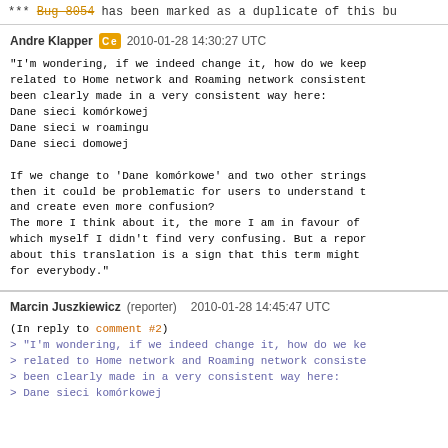*** Bug 8054 has been marked as a duplicate of this bu
Andre Klapper  2010-01-28 14:30:27 UTC

"I'm wondering, if we indeed change it, how do we keep
related to Home network and Roaming network consistent
been clearly made in a very consistent way here:
Dane sieci komórkowej
Dane sieci w roamingu
Dane sieci domowej

If we change to 'Dane komórkowe' and two other strings
then it could be problematic for users to understand t
and create even more confusion?
The more I think about it, the more I am in favour of
which myself I didn't find very confusing. But a repor
about this translation is a sign that this term might
for everybody."
Marcin Juszkiewicz (reporter)  2010-01-28 14:45:47 UTC

(In reply to comment #2)
> "I'm wondering, if we indeed change it, how do we ke
> related to Home network and Roaming network consiste
> been clearly made in a very consistent way here:
> Dane sieci komórkowej